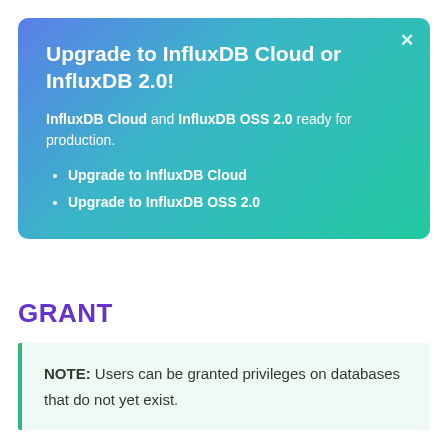Upgrade to InfluxDB Cloud or InfluxDB 2.0!
InfluxDB Cloud and InfluxDB OSS 2.0 ready for production.
Upgrade to InfluxDB Cloud
Upgrade to InfluxDB OSS 2.0
GRANT
NOTE: Users can be granted privileges on databases that do not yet exist.